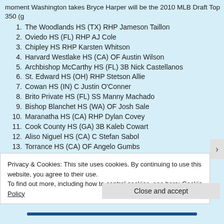moment Washington takes Bryce Harper will be the 2010 MLB Draft Top 350 (g
1. The Woodlands HS (TX) RHP Jameson Taillon
2. Oviedo HS (FL) RHP AJ Cole
3. Chipley HS RHP Karsten Whitson
4. Harvard Westlake HS (CA) OF Austin Wilson
5. Archbishop McCarthy HS (FL) 3B Nick Castellanos
6. St. Edward HS (OH) RHP Stetson Allie
7. Cowan HS (IN) C Justin O'Conner
8. Brito Private HS (FL) SS Manny Machado
9. Bishop Blanchet HS (WA) OF Josh Sale
10. Maranatha HS (CA) RHP Dylan Covey
11. Cook County HS (GA) 3B Kaleb Cowart
12. Aliso Niguel HS (CA) C Stefan Sabol
13. Torrance HS (CA) OF Angelo Gumbs
14. Barbe HS (LA) 3B Garin Cecchini
15. East Coweta HS (GA) RHP Cameron Bedrosian
16. Dana Hills HS (CA) RHP Peter Tago
Privacy & Cookies: This site uses cookies. By continuing to use this website, you agree to their use. To find out more, including how to control cookies, see here: Cookie Policy
Close and accept